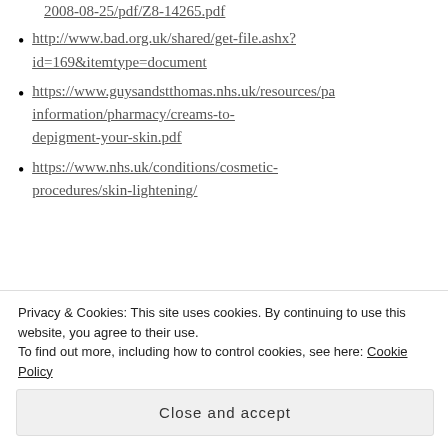2008-08-25/pdf/Z8-14265.pdf (truncated/cropped)
http://www.bad.org.uk/shared/get-file.ashx?id=169&itemtype=document
https://www.guysandstthomas.nhs.uk/resources/pa information/pharmacy/creams-to-depigment-your-skin.pdf
https://www.nhs.uk/conditions/cosmetic-procedures/skin-lightening/
SHARE THIS:
Twitter  Facebook  More
Privacy & Cookies: This site uses cookies. By continuing to use this website, you agree to their use.
To find out more, including how to control cookies, see here: Cookie Policy
Close and accept